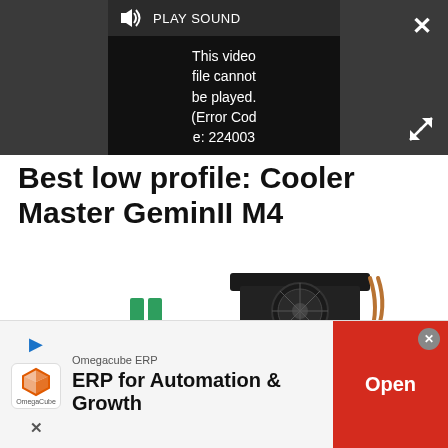[Figure (screenshot): Video player showing error message: 'This video file cannot be played. (Error Code: 224003)' with a Play Sound button and close/expand controls on dark background]
Best low profile: Cooler Master GeminII M4
[Figure (photo): Cooler Master GeminII M4 low profile CPU cooler mounted on a motherboard, showing the fan and heatsink from an angled top-down view]
[Figure (screenshot): Advertisement banner: Omegacube ERP - ERP for Automation & Growth, with Open button]